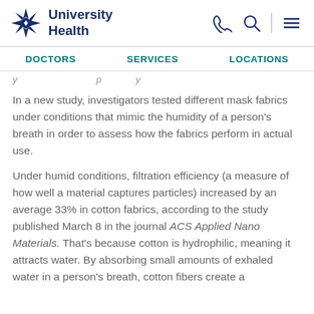[Figure (logo): University Health logo with snowflake/star icon in navy blue and bold navy text 'University Health']
DOCTORS   SERVICES   LOCATIONS
In a new study, investigators tested different mask fabrics under conditions that mimic the humidity of a person's breath in order to assess how the fabrics perform in actual use.
Under humid conditions, filtration efficiency (a measure of how well a material captures particles) increased by an average 33% in cotton fabrics, according to the study published March 8 in the journal ACS Applied Nano Materials. That's because cotton is hydrophilic, meaning it attracts water. By absorbing small amounts of exhaled water in a person's breath, cotton fibers create a